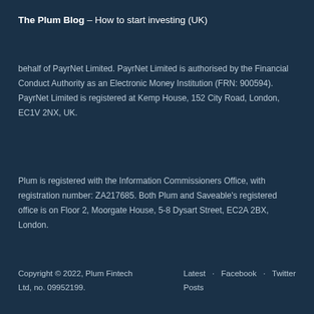The Plum Blog – How to start investing (UK)
behalf of PayrNet Limited. PayrNet Limited is authorised by the Financial Conduct Authority as an Electronic Money Institution (FRN: 900594). PayrNet Limited is registered at Kemp House, 152 City Road, London, EC1V 2NX, UK.
Plum is registered with the Information Commissioners Office, with registration number: ZA217685. Both Plum and Saveable's registered office is on Floor 2, Moorgate House, 5-8 Dysart Street, EC2A 2BX, London.
Copyright © 2022, Plum Fintech Ltd, no. 09952199.  Latest Posts · Facebook · Twitter